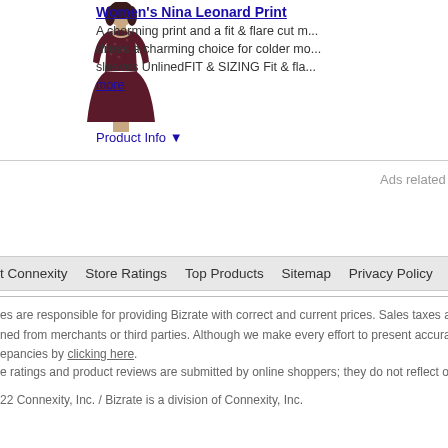[Figure (photo): Woman wearing a dark maroon/burgundy fit and flare print dress with 3/4 sleeves]
Women's Nina Leonard Print [truncated]
A charming print and a fit & flare cut m... dress a charming choice for colder mo... sleeves UnlinedFIT & SIZING Fit & fla... more
Product Info ▼
Ads related to pre owned lennie nina leonard womens s
t Connexity   Store Ratings   Top Products   Sitemap   Privacy Policy   User Agreement
es are responsible for providing Bizrate with correct and current prices. Sales taxes a... ned from merchants or third parties. Although we make every effort to present accura... epancies by clicking here.
e ratings and product reviews are submitted by online shoppers; they do not reflect ou...
22 Connexity, Inc. / Bizrate is a division of Connexity, Inc.